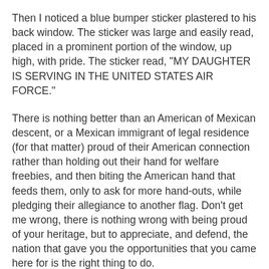Then I noticed a blue bumper sticker plastered to his back window. The sticker was large and easily read, placed in a prominent portion of the window, up high, with pride. The sticker read, "MY DAUGHTER IS SERVING IN THE UNITED STATES AIR FORCE."
There is nothing better than an American of Mexican descent, or a Mexican immigrant of legal residence (for that matter) proud of their American connection rather than holding out their hand for welfare freebies, and then biting the American hand that feeds them, only to ask for more hand-outs, while pledging their allegiance to another flag. Don't get me wrong, there is nothing wrong with being proud of your heritage, but to appreciate, and defend, the nation that gave you the opportunities that you came here for is the right thing to do.
And then, why is it that a man like him, or my wife, who came to America from Mexico, believes more in defending our nation, and protecting our interests, and protecting our shores from further terrorist attacks by taking the battle to the